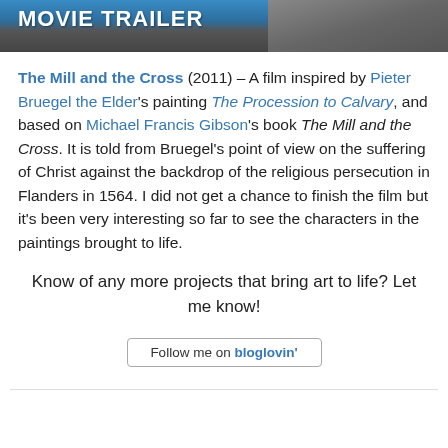[Figure (photo): Movie trailer banner image showing 'MOVIE TRAILER' text on blue background with a person's silhouette/photo on the right side]
The Mill and the Cross (2011) – A film inspired by Pieter Bruegel the Elder's painting The Procession to Calvary, and based on Michael Francis Gibson's book The Mill and the Cross. It is told from Bruegel's point of view on the suffering of Christ against the backdrop of the religious persecution in Flanders in 1564. I did not get a chance to finish the film but it's been very interesting so far to see the characters in the paintings brought to life.
Know of any more projects that bring art to life? Let me know!
[Figure (other): Follow me on bloglovin' button]